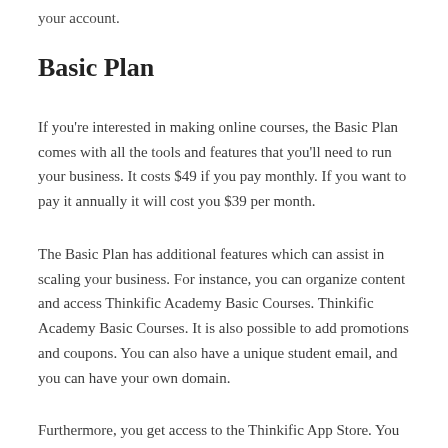your account.
Basic Plan
If you're interested in making online courses, the Basic Plan comes with all the tools and features that you'll need to run your business. It costs $49 if you pay monthly. If you want to pay it annually it will cost you $39 per month.
The Basic Plan has additional features which can assist in scaling your business. For instance, you can organize content and access Thinkific Academy Basic Courses. Thinkific Academy Basic Courses. It is also possible to add promotions and coupons. You can also have a unique student email, and you can have your own domain.
Furthermore, you get access to the Thinkific App Store. You can also make unlimited courses with the Basic Plan.